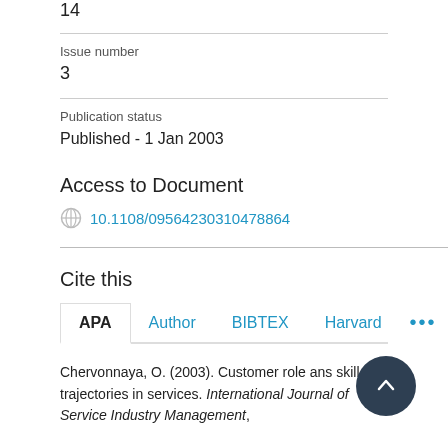14
Issue number
3
Publication status
Published - 1 Jan 2003
Access to Document
10.1108/09564230310478864
Cite this
APA  Author  BIBTEX  Harvard  ...
Chervonnaya, O. (2003). Customer role ans skill trajectories in services. International Journal of Service Industry Management,